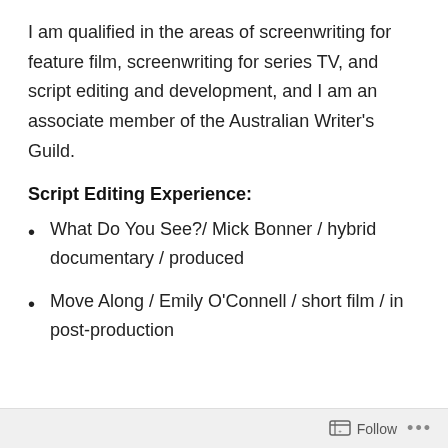I am qualified in the areas of screenwriting for feature film, screenwriting for series TV, and script editing and development, and I am an associate member of the Australian Writer's Guild.
Script Editing Experience:
What Do You See?/ Mick Bonner / hybrid documentary / produced
Move Along / Emily O'Connell / short film / in post-production
Follow ...